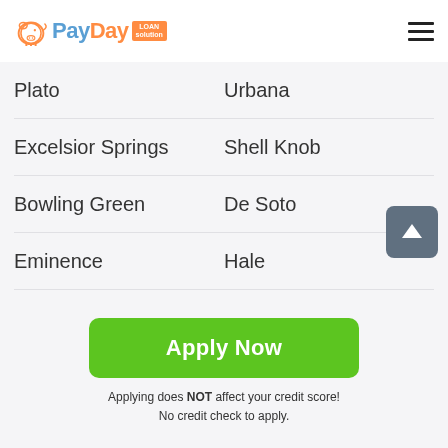PayDay Loan Solution
Plato | Urbana
Excelsior Springs | Shell Knob
Bowling Green | De Soto
Eminence | Hale
Unionville | Cameron
Gideon | Mt Grove
Lamar | Nevada
Farmington | Earth City
Apply Now
Applying does NOT affect your credit score!
No credit check to apply.